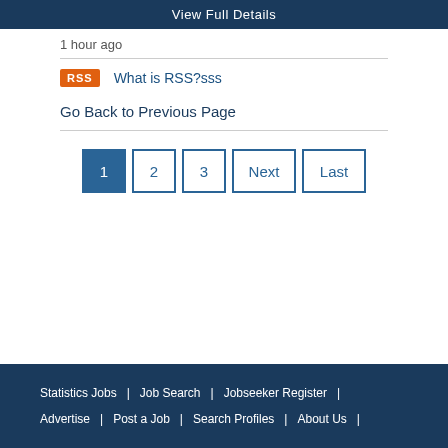View Full Details
1 hour ago
RSS  What is RSS?sss
Go Back to Previous Page
1  2  3  Next  Last
Statistics Jobs | Job Search | Jobseeker Register | Advertise | Post a Job | Search Profiles | About Us |